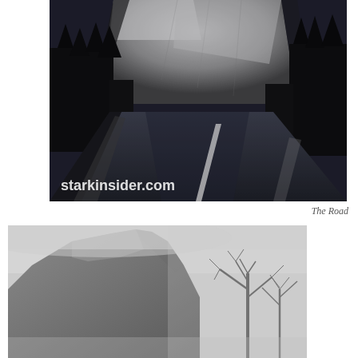[Figure (photo): A dark, moody photograph of a road curving through a forest with tall granite cliffs in the background, taken at dusk or dawn. A white watermark 'starkinsider.com' is visible in the lower left of the photo.]
The Road
[Figure (photo): A misty, grey-toned photograph of a large rocky mountain or cliff face with bare trees visible in the fog on the right side.]